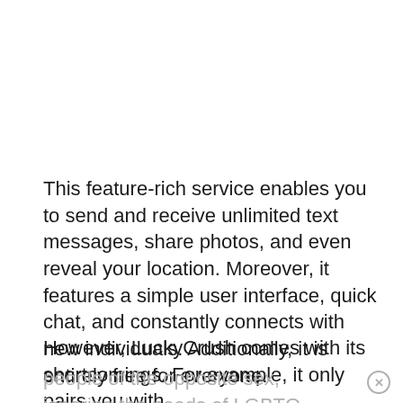This feature-rich service enables you to send and receive unlimited text messages, share photos, and even reveal your location. Moreover, it features a simple user interface, quick chat, and constantly connects with new individuals. Additionally, it is entirely free for everyone.
However, LuckyCrush comes with its shortcomings. For example, it only pairs you with people of the opposite sex, ignoring the needs of LGBTQ members. To use it, you must create an